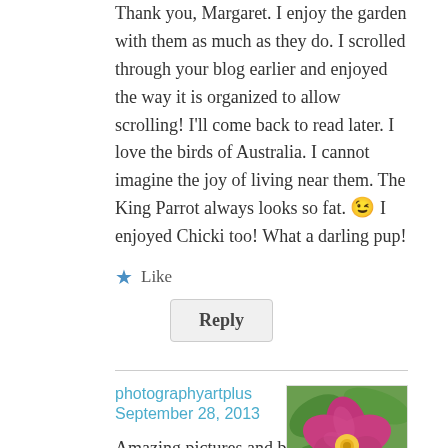Thank you, Margaret. I enjoy the garden with them as much as they do. I scrolled through your blog earlier and enjoyed the way it is organized to allow scrolling! I'll come back to read later. I love the birds of Australia. I cannot imagine the joy of living near them. The King Parrot always looks so fat. 😉 I enjoyed Chicki too! What a darling pup!
★ Like
Reply
photographyartplus
September 28, 2013
[Figure (photo): A pink/magenta flower with yellow center against green leaves]
Amazing pictures and beautiful colors! 🙂
★ Like
Reply